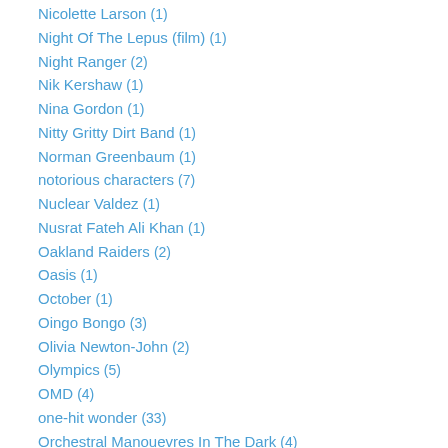Nicolette Larson (1)
Night Of The Lepus (film) (1)
Night Ranger (2)
Nik Kershaw (1)
Nina Gordon (1)
Nitty Gritty Dirt Band (1)
Norman Greenbaum (1)
notorious characters (7)
Nuclear Valdez (1)
Nusrat Fateh Ali Khan (1)
Oakland Raiders (2)
Oasis (1)
October (1)
Oingo Bongo (3)
Olivia Newton-John (2)
Olympics (5)
OMD (4)
one-hit wonder (33)
Orchestral Manouevres In The Dark (4)
Osama bin Laden (1)